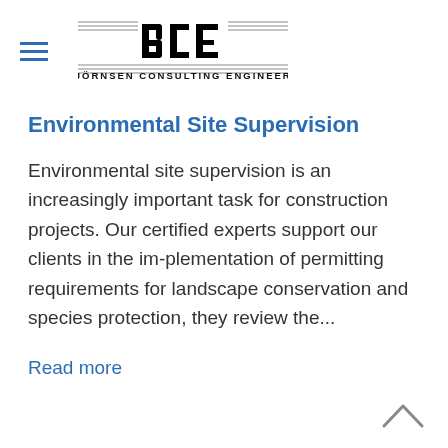BCE BJÖRNSEN CONSULTING ENGINEERS
Environmental Site Supervision
Environmental site supervision is an increasingly important task for construction projects. Our certified experts support our clients in the im-plementation of permitting requirements for landscape conservation and species protection, they review the...
Read more